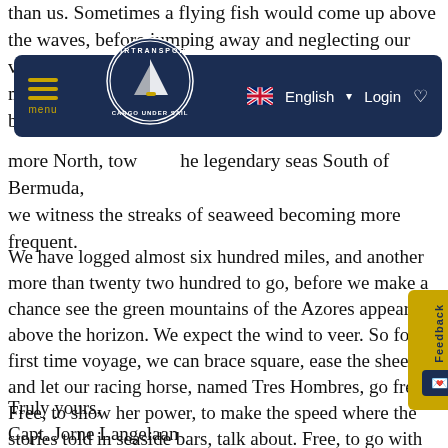than us. Sometimes a flying fish would come up above the waves, before jumping away and neglecting our views. At one m... br...
[Figure (screenshot): Fairtransport Cargo Under Sail navigation bar with hamburger menu, circular logo, English language selector with UK flag, Login button, and heart icon on a dark navy background.]
more North, towards the legendary seas South of Bermuda, we witness the streaks of seaweed becoming more frequent.
We have logged almost six hundred miles, and another more than twenty two hundred to go, before we make a chance to see the green mountains of the Azores appearing above the horizon. We expect the wind to veer. So for the first time this voyage, we can brace square, ease the sheets, and let our racing horse, named Tres Hombres, go free. Free, to show her power, to make the speed where the stories told in seaside bars, talk about. Free, to go with white foam on her bow, and a straight wake at her stern, clipping along by pure wind power. Making use of this powerful sailing energy, just temporarily, before leaving it behind, for the next man to use!
Truly yours,
Capt. Jorne Langelaan